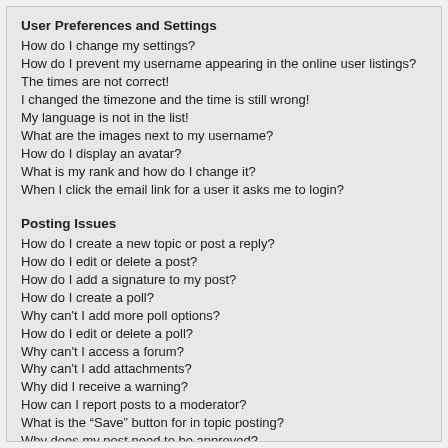User Preferences and Settings
How do I change my settings?
How do I prevent my username appearing in the online user listings?
The times are not correct!
I changed the timezone and the time is still wrong!
My language is not in the list!
What are the images next to my username?
How do I display an avatar?
What is my rank and how do I change it?
When I click the email link for a user it asks me to login?
Posting Issues
How do I create a new topic or post a reply?
How do I edit or delete a post?
How do I add a signature to my post?
How do I create a poll?
Why can't I add more poll options?
How do I edit or delete a poll?
Why can't I access a forum?
Why can't I add attachments?
Why did I receive a warning?
How can I report posts to a moderator?
What is the “Save” button for in topic posting?
Why does my post need to be approved?
How do I bump my topic?